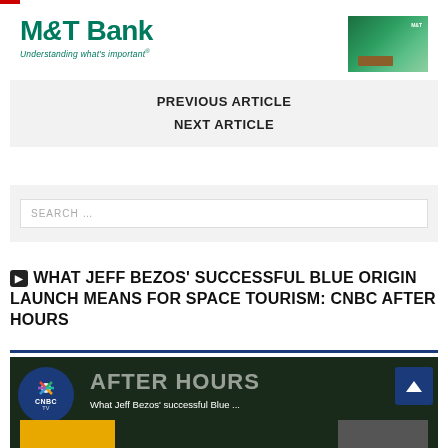[Figure (logo): M&T Bank logo with text 'Understanding what's important®' in green, alongside a photo of a bank interior]
PREVIOUS ARTICLE
NEXT ARTICLE
SEARCH …
▶ WHAT JEFF BEZOS' SUCCESSFUL BLUE ORIGIN LAUNCH MEANS FOR SPACE TOURISM: CNBC AFTER HOURS
[Figure (screenshot): CNBC After Hours video thumbnail showing 'What Jeff Bezos successful Blue ...' with CNBC TV logo]